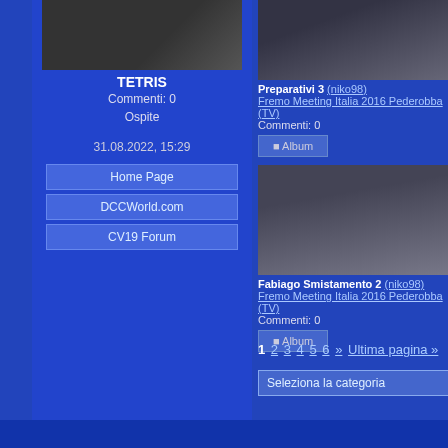[Figure (photo): Thumbnail photo of TETRIS subject (dark/blurry image)]
TETRIS
Commenti: 0
Ospite
31.08.2022, 15:29
Home Page
DCCWorld.com
CV19 Forum
[Figure (photo): Aerial view of model train layout - Preparativi 3]
Preparativi 3 (niko98)
Fremo Meeting Italia 2016 Pederobba (TV)
Commenti: 0
Album
[Figure (photo): Model train yard tracks - Fabiago Smistamento 2]
Fabiago Smistamento 2 (niko98)
Fremo Meeting Italia 2016 Pederobba (TV)
Commenti: 0
Album
1 2 3 4 5 6 » Ultima pagina »
Seleziona la categoria